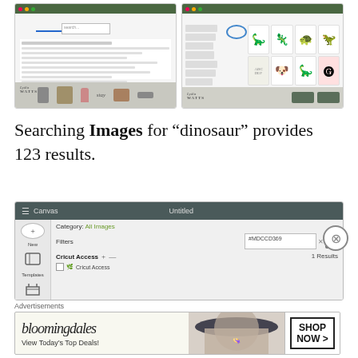[Figure (screenshot): Two side-by-side screenshots of a Cricut Design Space interface. Left screenshot shows a search with arrow pointing to search field, with a list/table view and a watermark reading 'Lydia WATTS'. Right screenshot shows image search results for dinosaur with colorful cartoon dinosaur images in a grid, a blue circle highlight on a button, and 'Lydia WATTS' watermark.]
Searching Images for “dinosaur” provides 123 results.
[Figure (screenshot): Screenshot of Cricut Design Space canvas interface showing: Menu bar with hamburger icon, 'Canvas' label, and 'Untitled' text on dark teal background. Left panel with New and Templates icons. Main area showing Category: All Images (green link), Filters section with search box containing '#MDCCD369' with X and search button, Cricut Access filter section with + and - buttons, checkbox for Cricut Access, and '1 Results' text.]
Advertisements
[Figure (screenshot): Bloomingdale's advertisement banner showing 'bloomingdales' logo text, 'View Today’s Top Deals!' text on left, a woman with a wide-brim hat in center, and 'SHOP NOW >' button on right.]